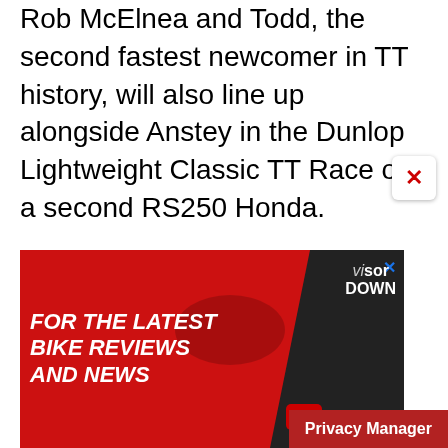Rob McElnea and Todd, the second fastest newcomer in TT history, will also line up alongside Anstey in the Dunlop Lightweight Classic TT Race on a second RS250 Honda.
Tickets for the 2019 Classic TT are now on sale via the Official iomttraces.com website including Official Grandstand Tickets, VIP Hospitality Experiences, and Official Entertainment Events including the Counterfeit Stones
[Figure (infographic): Advertisement banner for Visordown YouTube channel. Red diagonal background with white bold italic text 'FOR THE LATEST BIKE REVIEWS AND NEWS', Visordown logo on right, YouTube play button and 'YouTube' text.]
Privacy Manager